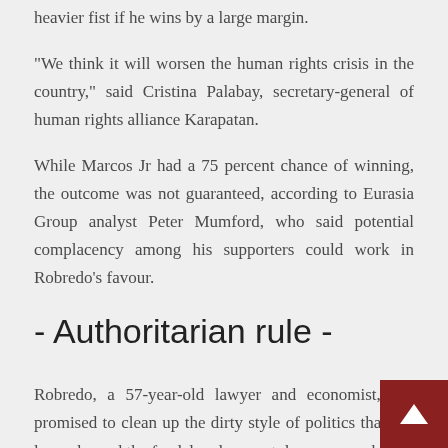heavier fist if he wins by a large margin.
"We think it will worsen the human rights crisis in the country," said Cristina Palabay, secretary-general of human rights alliance Karapatan.
While Marcos Jr had a 75 percent chance of winning, the outcome was not guaranteed, according to Eurasia Group analyst Peter Mumford, who said potential complacency among his supporters could work in Robredo's favour.
- Authoritarian rule -
Robredo, a 57-year-old lawyer and economist, has promised to clean up the dirty style of politics that has long plagued the feudal and corrupt democracy whe...